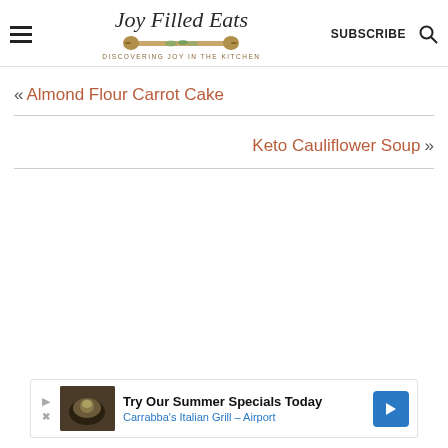Joy Filled Eats — DISCOVERING JOY IN THE KITCHEN — SUBSCRIBE
« Almond Flour Carrot Cake
Keto Cauliflower Soup »
[Figure (illustration): Advertisement banner: Try Our Summer Specials Today — Carrabba's Italian Grill - Airport]